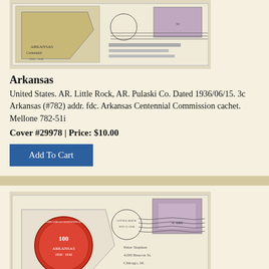[Figure (photo): Photograph of a first day cover envelope with Arkansas Centennial stamp and postmark, showing a map of Arkansas on the cachet]
Arkansas
United States. AR. Little Rock, AR. Pulaski Co. Dated 1936/06/15. 3c Arkansas (#782) addr. fdc. Arkansas Centennial Commission cachet. Mellone 782-51i
Cover #29978 | Price: $10.00
Add To Cart
[Figure (photo): Photograph of a first day cover envelope with Arkansas Centennial stamp, showing a red Arkansas state seal cachet and postmark, addressed to Peter Stephan, 4190 Beacon St., Chicago, Ill.]
Arkansas
United States. AR. Little Rock, AR. Pulaski Co. Dated 1936/06/15. 3c Arkansas (#782) addr. fdc. Mellone